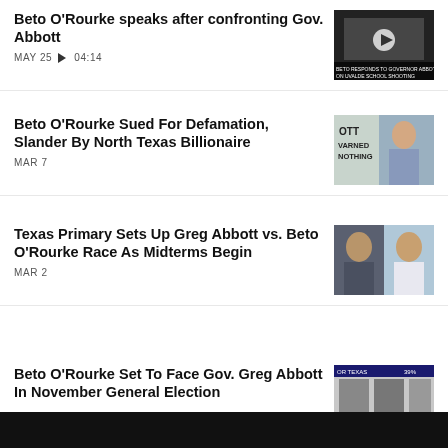Beto O'Rourke speaks after confronting Gov. Abbott | MAY 25 ▶ 04:14
[Figure (photo): Video thumbnail showing a person with play button overlay, text about Uvalde school shooting]
Beto O'Rourke Sued For Defamation, Slander By North Texas Billionaire | MAR 7
[Figure (photo): Photo of Beto O'Rourke holding a sign that says ABBOTT WARNED NOTHING]
Texas Primary Sets Up Greg Abbott vs. Beto O'Rourke Race As Midterms Begin | MAR 2
[Figure (photo): Split photo of Greg Abbott and Beto O'Rourke side by side]
Beto O'Rourke Set To Face Gov. Greg Abbott In November General Election
[Figure (photo): Screenshot showing Texas election results graphic with candidates]